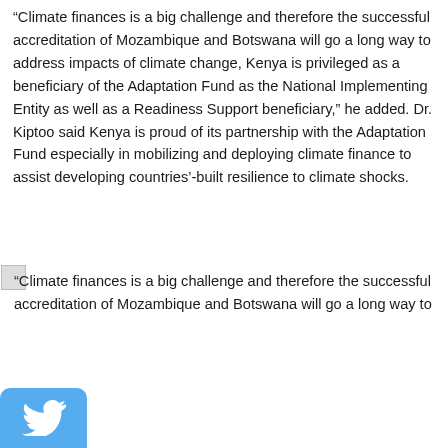“Climate finances is a big challenge and therefore the successful accreditation of Mozambique and Botswana will go a long way to address impacts of climate change, Kenya is privileged as a beneficiary of the Adaptation Fund as the National Implementing Entity as well as a Readiness Support beneficiary,” he added. Dr. Kiptoo said Kenya is proud of its partnership with the Adaptation Fund especially in mobilizing and deploying climate finance to assist developing countries’-built resilience to climate shocks.
“Climate finances is a big challenge and therefore the successful accreditation of Mozambique and Botswana will go a long way to
Quick Links
Careers/Vacancies →
Staff Email →
TENDERS →
Licensing Portal →